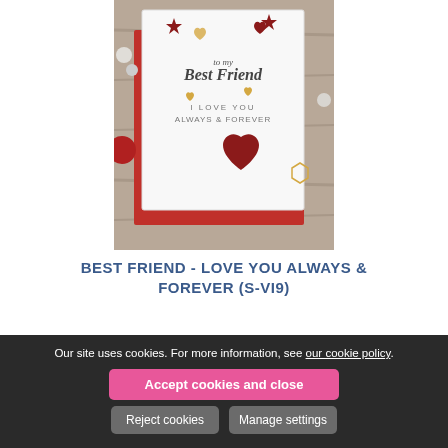[Figure (photo): Photo of a greeting card on a wooden surface. The card reads 'to my Best Friend I LOVE YOU ALWAYS & FOREVER' with red and gold heart decorations and star embellishments. A red envelope and decorative stones are visible around the card.]
BEST FRIEND - LOVE YOU ALWAYS & FOREVER (S-VI9)
Our site uses cookies. For more information, see our cookie policy.
Accept cookies and close
Reject cookies
Manage settings